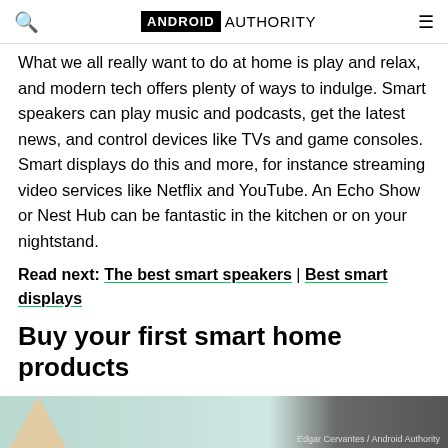ANDROID AUTHORITY
What we all really want to do at home is play and relax, and modern tech offers plenty of ways to indulge. Smart speakers can play music and podcasts, get the latest news, and control devices like TVs and game consoles. Smart displays do this and more, for instance streaming video services like Netflix and YouTube. An Echo Show or Nest Hub can be fantastic in the kitchen or on your nightstand.
Read next: The best smart speakers | Best smart displays
Buy your first smart home products
[Figure (photo): Bottom portion of an image showing a smart home product, with photographer credit 'Edgar Cervantes / Android Authority']
Edgar Cervantes / Android Authority